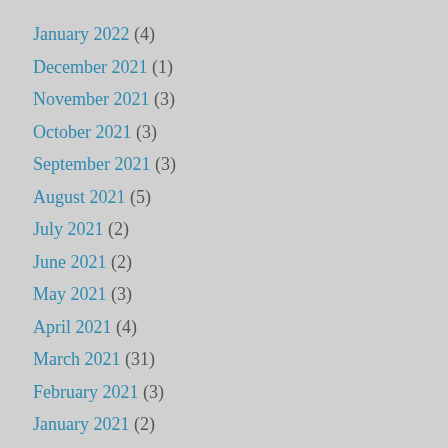January 2022 (4)
December 2021 (1)
November 2021 (3)
October 2021 (3)
September 2021 (3)
August 2021 (5)
July 2021 (2)
June 2021 (2)
May 2021 (3)
April 2021 (4)
March 2021 (31)
February 2021 (3)
January 2021 (2)
December 2020 (2)